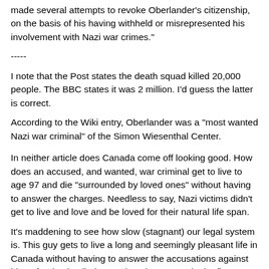made several attempts to revoke Oberlander's citizenship, on the basis of his having withheld or misrepresented his involvement with Nazi war crimes."
-----
I note that the Post states the death squad killed 20,000 people. The BBC states it was 2 million. I'd guess the latter is correct.
According to the Wiki entry, Oberlander was a "most wanted Nazi war criminal" of the Simon Wiesenthal Center.
In neither article does Canada come off looking good. How does an accused, and wanted, war criminal get to live to age 97 and die "surrounded by loved ones" without having to answer the charges. Needless to say, Nazi victims didn't get to live and love and be loved for their natural life span.
It's maddening to see how slow (stagnant) our legal system is. This guy gets to live a long and seemingly pleasant life in Canada without having to answer the accusations against him, after having lied to get into the country in the first place.
I understand that all of the issues are complex, starting with the war itself and all those caught up in it.